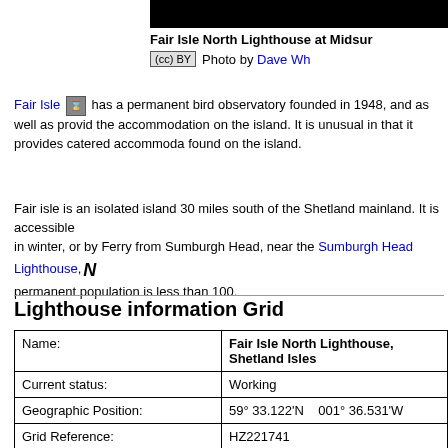Fair Isle North Lighthouse at Midsummer
CC BY Photo by Dave Wh...
Fair Isle has a permanent bird observatory founded in 1948, and as well as providing the accommodation on the island. It is unusual in that it provides catered accommodation found on the island.
Fair isle is an isolated island 30 miles south of the Shetland mainland. It is accessible in winter, or by Ferry from Sumburgh Head, near the Sumburgh Head Lighthouse, permanent population is less than 100.
Lighthouse information Grid
| Name: | Fair Isle North Lighthouse, Shetland Isles |
| --- | --- |
| Current status: | Working |
| Geographic Position: | 59° 33.122'N   001° 36.531'W |
| Grid Reference: | HZ221741 |
| Ceremonial County: | Shetland Isles |
| Appearance: | White tower with 37 steps to the top of tower. 1 buildings enclosed by a stone wall. |
| Map Link: | Multimap |
| Aerial photo: |  |